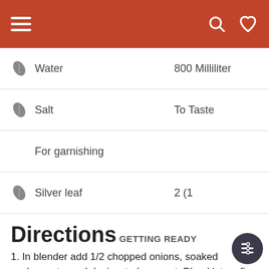Navigation header with hamburger menu, search and heart icons
Water — 800 Milliliter
Salt — To Taste
For garnishing
Silver leaf — 2 (1
Directions
GETTING READY
1. In blender add 1/2 chopped onions, soaked cashew nuts, and desiccated coconut. Blend into a fine paste.
MAKING